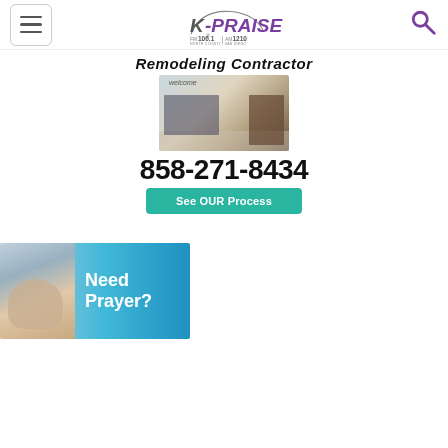K-PRAISE FM 106.1 AM 1210 NORTH COUNTY | SAN DIEGO
[Figure (photo): Remodeling Contractor advertisement: shows a kitchen showroom interior with cabinets, the phone number 858-271-8434, and a teal 'See OUR Process' button.]
[Figure (photo): Need Prayer? advertisement banner with clasped hands on a blue gradient background.]